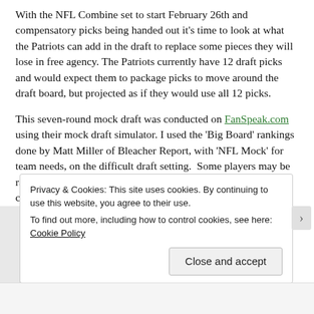With the NFL Combine set to start February 26th and compensatory picks being handed out it's time to look at what the Patriots can add in the draft to replace some pieces they will lose in free agency. The Patriots currently have 12 draft picks and would expect them to package picks to move around the draft board, but projected as if they would use all 12 picks.
This seven-round mock draft was conducted on FanSpeak.com using their mock draft simulator. I used the 'Big Board' rankings done by Matt Miller of Bleacher Report, with 'NFL Mock' for team needs, on the difficult draft setting. Some players may be ranked higher in other rankings and projections and post combine.
Privacy & Cookies: This site uses cookies. By continuing to use this website, you agree to their use.
To find out more, including how to control cookies, see here: Cookie Policy